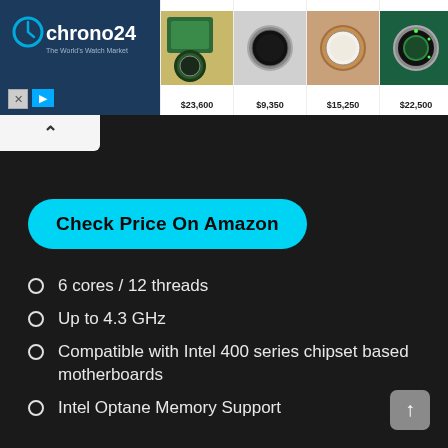[Figure (screenshot): Chrono24 advertisement banner showing logo on dark blue background and four watch listings with prices: $23,600, $9,350, $15,250, $22,500]
[Figure (screenshot): Collapse/scroll-up arrow button on light gray background]
[Figure (screenshot): Cyan rounded button labeled 'Check Price On Amazon']
6 cores / 12 threads
Up to 4.3 GHz
Compatible with Intel 400 series chipset based motherboards
Intel Optane Memory Support